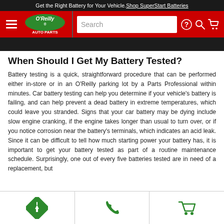Get the Right Battery for Your Vehicle. Shop SuperStart Batteries
[Figure (screenshot): O'Reilly Auto Parts navigation bar with logo, search field, help icon, search icon, and cart icon]
[Figure (photo): Dark image strip]
When Should I Get My Battery Tested?
Battery testing is a quick, straightforward procedure that can be performed either in-store or in an O'Reilly parking lot by a Parts Professional within minutes. Car battery testing can help you determine if your vehicle's battery is failing, and can help prevent a dead battery in extreme temperatures, which could leave you stranded. Signs that your car battery may be dying include slow engine cranking, if the engine takes longer than usual to turn over, or if you notice corrosion near the battery's terminals, which indicates an acid leak. Since it can be difficult to tell how much starting power your battery has, it is important to get your battery tested as part of a routine maintenance schedule. Surprisingly, one out of every five batteries tested are in need of a replacement, but
Navigation icons: directions, phone, cart